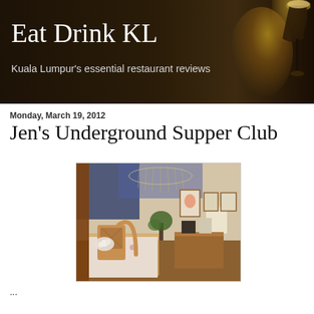Eat Drink KL
Kuala Lumpur's essential restaurant reviews
Monday, March 19, 2012
Jen's Underground Supper Club
[Figure (photo): Interior of Jen's Underground Supper Club showing dining area with rattan chairs, floral tablecloth, chandelier, and framed photos on the wall]
...